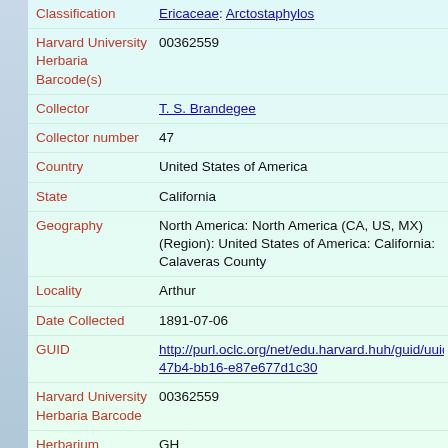Classification: Ericaceae: Arctostaphylos
Harvard University Herbaria Barcode(s): 00362559
Collector: T. S. Brandegee
Collector number: 47
Country: United States of America
State: California
Geography: North America: North America (CA, US, MX) (Region): United States of America: California: Calaveras County
Locality: Arthur
Date Collected: 1891-07-06
GUID: http://purl.oclc.org/net/edu.harvard.huh/guid/uuid/dec0bff-47b4-bb16-e87e677d1c30
Harvard University Herbaria Barcode: 00362559
Herbarium: GH
Family: Ericaceae